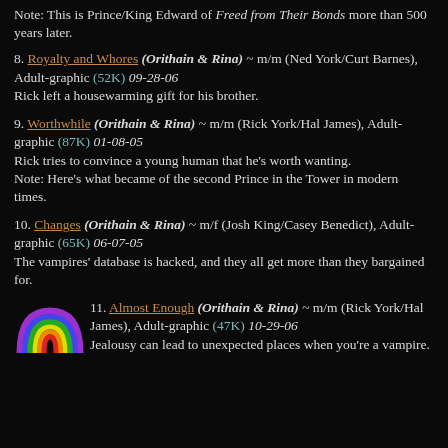Note: This is Prince/King Edward of Freed from Their Bonds more than 500 years later.
8. Royalty and Whores (Orithain & Rina) ~ m/m (Ned York/Curt Barnes), Adult-graphic (52K) 09-28-06
Rick left a housewarming gift for his brother.
9. Worthwhile (Orithain & Rina) ~ m/m (Rick York/Hal James), Adult-graphic (87K) 01-08-05
Rick tries to convince a young human that he's worth wanting.
Note: Here's what became of the second Prince in the Tower in modern times.
10. Changes (Orithain & Rina) ~ m/f (Josh King/Casey Benedict), Adult-graphic (65K) 06-07-05
The vampires' database is hacked, and they all get more than they bargained for.
11. Almost Enough (Orithain & Rina) ~ m/m (Rick York/Hal James), Adult-graphic (47K) 10-29-06
Jealousy can lead to unexpected places when you're a vampire.